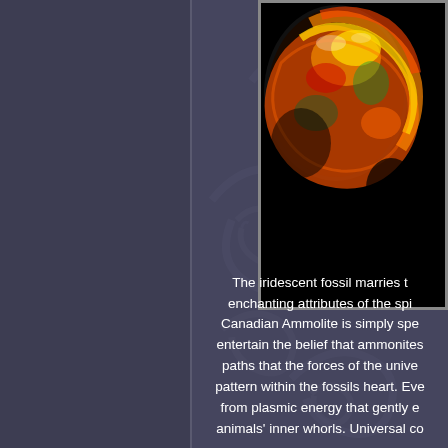[Figure (photo): Close-up photograph of an iridescent Canadian Ammolite fossil showing vivid red, orange, gold, and green colors against a black background, shaped like a rounded form.]
The iridescent fossil marries the enchanting attributes of the spi... Canadian Ammolite is simply spe... entertain the belief that ammonites... paths that the forces of the unive... pattern within the fossils heart. Eve... from plasmic energy that gently e... animals' inner whorls. Universal co...